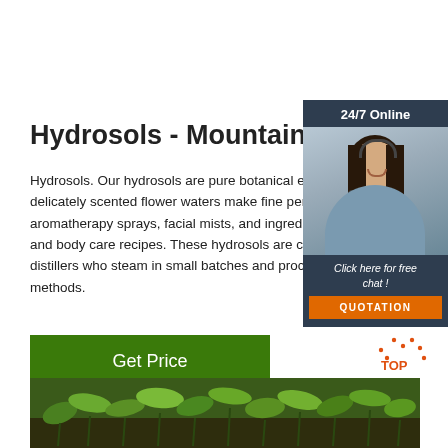[Figure (photo): Customer service woman with headset, 24/7 Online chat widget with dark blue background, 'Click here for free chat!' text, and orange QUOTATION button]
Hydrosols - Mountain Rose
Hydrosols. Our hydrosols are pure botanical extr... delicately scented flower waters make fine perfu... aromatherapy sprays, facial mists, and ingredien... and body care recipes. These hydrosols are crea... distillers who steam in small batches and proces... methods.
Get Price
[Figure (photo): Close-up photo of green herb plants / mountain rose herbs growing in soil]
[Figure (illustration): TOP button with orange dotted arch icon and orange text 'TOP']